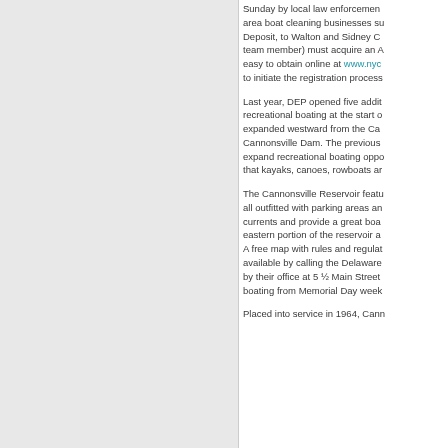Sunday by local law enforcement area boat cleaning businesses su Deposit, to Walton and Sidney C team member) must acquire an A easy to obtain online at www.nyc to initiate the registration process
Last year, DEP opened five addit recreational boating at the start o expanded westward from the Ca Cannonsville Dam. The previous expand recreational boating oppo that kayaks, canoes, rowboats ar
The Cannonsville Reservoir featu all outfitted with parking areas an currents and provide a great boa eastern portion of the reservoir a A free map with rules and regulat available by calling the Delaware by their office at 5 ½ Main Street boating from Memorial Day week
Placed into service in 1964, Cann